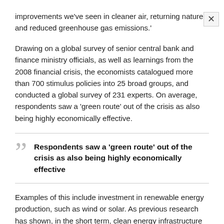improvements we've seen in cleaner air, returning nature and reduced greenhouse gas emissions.'
Drawing on a global survey of senior central bank and finance ministry officials, as well as learnings from the 2008 financial crisis, the economists catalogued more than 700 stimulus policies into 25 broad groups, and conducted a global survey of 231 experts. On average, respondents saw a ‘green route’ out of the crisis as also being highly economically effective.
Respondents saw a ‘green route’ out of the crisis as also being highly economically effective
Examples of this include investment in renewable energy production, such as wind or solar. As previous research has shown, in the short term, clean energy infrastructure